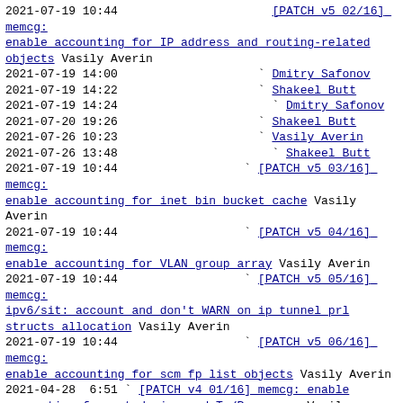2021-07-19 10:44    [PATCH v5 02/16] memcg: enable accounting for IP address and routing-related objects Vasily Averin
2021-07-19 14:00      ` Dmitry Safonov
2021-07-19 14:22      ` Shakeel Butt
2021-07-19 14:24        ` Dmitry Safonov
2021-07-20 19:26      ` Shakeel Butt
2021-07-26 10:23      ` Vasily Averin
2021-07-26 13:48        ` Shakeel Butt
2021-07-19 10:44    ` [PATCH v5 03/16] memcg: enable accounting for inet bin bucket cache Vasily Averin
2021-07-19 10:44    ` [PATCH v5 04/16] memcg: enable accounting for VLAN group array Vasily Averin
2021-07-19 10:44    ` [PATCH v5 05/16] memcg: ipv6/sit: account and don't WARN on ip tunnel prl structs allocation Vasily Averin
2021-07-19 10:44    ` [PATCH v5 06/16] memcg: enable accounting for scm fp list objects Vasily Averin
2021-04-28  6:51 ` [PATCH v4 01/16] memcg: enable accounting for net device and Tx/Rx queues Vasily Averin
2021-04-28  6:51 ` [PATCH v4 02/16] memcg: enable accounting for IP address and routing-related objects Vasily Averin
2021-04-28  6:51 ` [PATCH v4 03/16] memcg: enable accounting for inet bin bucket cache Vasily Averin
2021-04-28  6:52 ` [PATCH v4 04/16] memcg: enable accounting for VLAN group array Vasily Averin
2021-04-28  6:52 ` [PATCH v4 05/16] memcg: ipv6/sit: